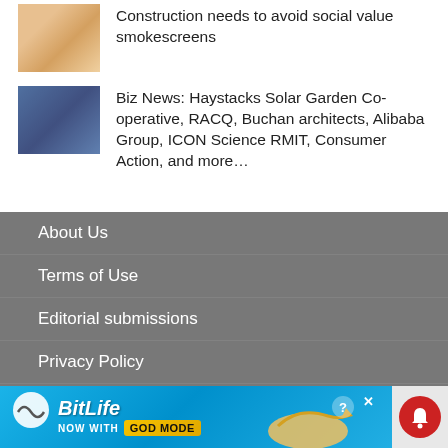Construction needs to avoid social value smokescreens
Biz News: Haystacks Solar Garden Co-operative, RACQ, Buchan architects, Alibaba Group, ICON Science RMIT, Consumer Action, and more…
About Us
Terms of Use
Editorial submissions
Privacy Policy
Code of conduct
Contact Us
[Figure (screenshot): BitLife advertisement banner with 'NOW WITH GOD MODE' text, hand graphic pointing, close button and notification bell]